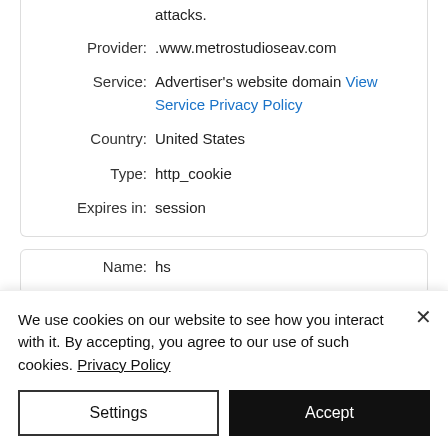| Field | Value |
| --- | --- |
|  | attacks. |
| Provider: | .www.metrostudioseav.com |
| Service: | Advertiser's website domain View Service Privacy Policy |
| Country: | United States |
| Type: | http_cookie |
| Expires in: | session |
| Field | Value |
| --- | --- |
| Name: | hs |
We use cookies on our website to see how you interact with it. By accepting, you agree to our use of such cookies. Privacy Policy
Settings
Accept